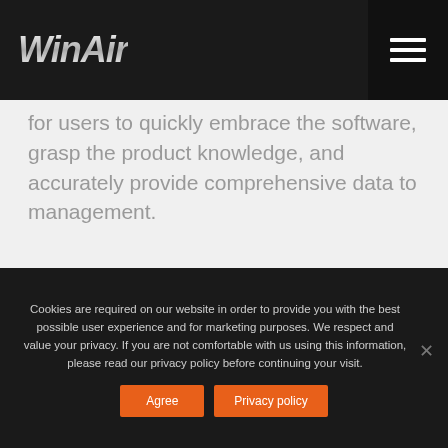WinAir
for users to quickly embrace the software, grasp the product knowledge, and accurately provide comprehensive data to management.
Cookies are required on our website in order to provide you with the best possible user experience and for marketing purposes. We respect and value your privacy. If you are not comfortable with us using this information, please read our privacy policy before continuing your visit.